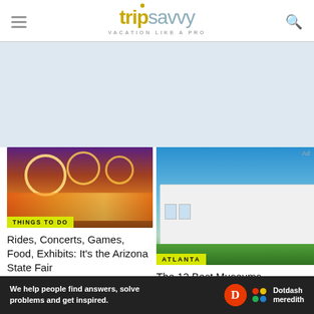tripsavvy — VACATION LIKE A PRO
[Figure (other): Light blue advertisement placeholder area]
[Figure (photo): Arizona State Fair at night with ferris wheels and colorful lights]
THINGS TO DO
Rides, Concerts, Games, Food, Exhibits: It's the Arizona State Fair
[Figure (photo): White modern museum building exterior with blue sky and green lawn — Atlanta]
ATLANTA
The 12 Best Museums
Ad
We help people find answers, solve problems and get inspired.
[Figure (logo): Dotdash Meredith logo with red D circle and colorful dots icon]